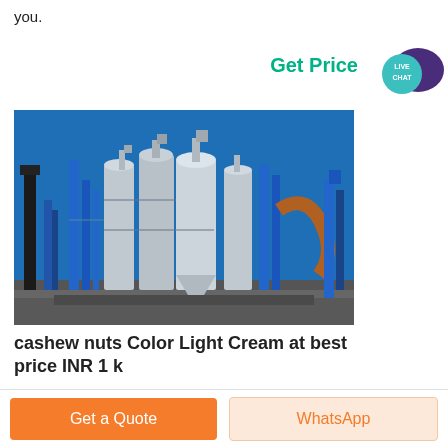you.
Get Price
[Figure (photo): Industrial plant with large metallic silos and blue steel structures against a clear blue sky]
cashew nuts Color Light Cream at best price INR 1 k
Get a Quote
WhatsApp